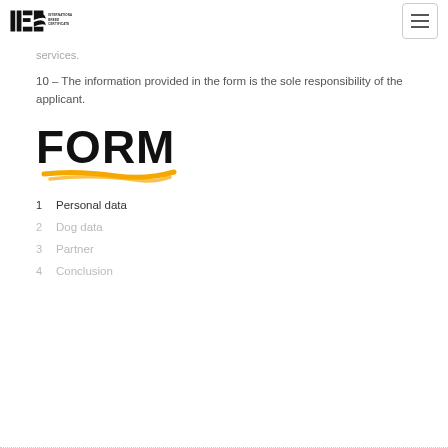IBC International Breed Certificate
services.
10 – The information provided in the form is the sole responsibility of the applicant.
FORM
1  Personal data
2  Dog data
3  Partner
4  Conclusion